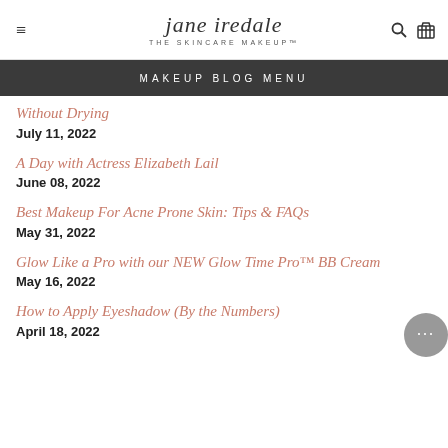jane iredale THE SKINCARE MAKEUP™
MAKEUP BLOG MENU
Without Drying
July 11, 2022
A Day with Actress Elizabeth Lail
June 08, 2022
Best Makeup For Acne Prone Skin: Tips & FAQs
May 31, 2022
Glow Like a Pro with our NEW Glow Time Pro™ BB Cream
May 16, 2022
How to Apply Eyeshadow (By the Numbers)
April 18, 2022